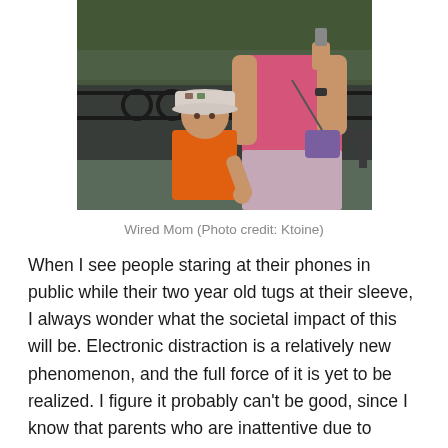[Figure (photo): A mother talking on her phone while holding the hand of a young child in an orange shirt and bucket hat. They appear to be outdoors in a public space.]
Wired Mom (Photo credit: Ktoine)
When I see people staring at their phones in public while their two year old tugs at their sleeve, I always wonder what the societal impact of this will be. Electronic distraction is a relatively new phenomenon, and the full force of it is yet to be realized. I figure it probably can't be good, since I know that parents who are inattentive due to addiction or mental illness can produce some pretty angry